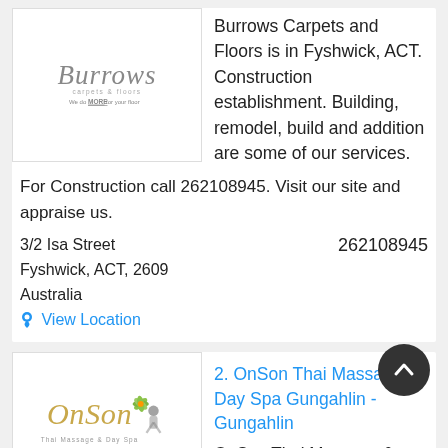[Figure (logo): Burrows carpets & floors logo with text 'We do MORE for your floor']
Burrows Carpets and Floors is in Fyshwick, ACT. Construction establishment. Building, remodel, build and addition are some of our services.
For Construction call 262108945. Visit our site and appraise us.
3/2 Isa Street
Fyshwick, ACT, 2609
Australia
262108945
View Location
2. OnSon Thai Massage & Day Spa Gungahlin - Gungahlin
[Figure (logo): OnSon Thai Massage & Day Spa logo]
OnSon Thai Massage & Day Spa Gungahlin